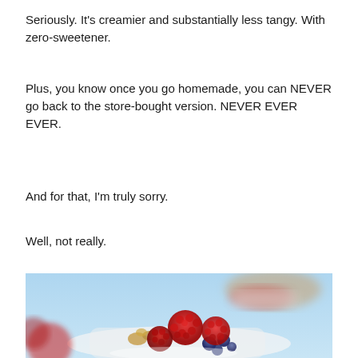Seriously. It's creamier and substantially less tangy. With zero-sweetener.
Plus, you know once you go homemade, you can NEVER go back to the store-bought version. NEVER EVER EVER.
And for that, I'm truly sorry.
Well, not really.
[Figure (photo): Close-up photo of a glass or bowl with yogurt topped with fresh raspberries, blueberries, and granola/walnuts, with a light blue background. Another similar serving is blurred in the background.]